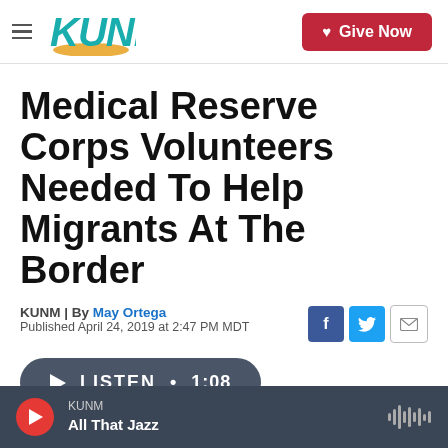KUNM | Give Now
Medical Reserve Corps Volunteers Needed To Help Migrants At The Border
KUNM | By May Ortega
Published April 24, 2019 at 2:47 PM MDT
LISTEN • 1:08
KUNM | All That Jazz